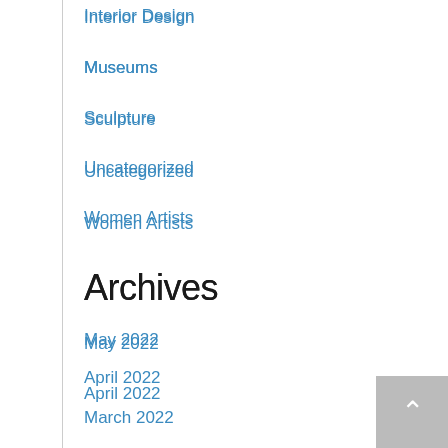Interior Design
Museums
Sculpture
Uncategorized
Women Artists
Archives
May 2022
April 2022
March 2022
February 2022
January 2022
December 2021